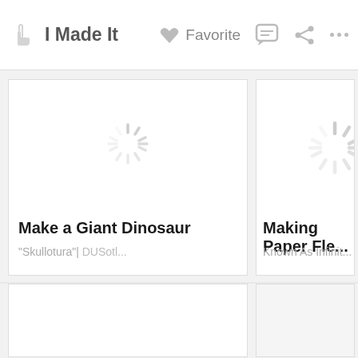I Made It | Favorite
[Figure (screenshot): Loading spinner in card for Make a Giant Dinosaur]
Make a Giant Dinosaur
"Skullotura"| ...
[Figure (screenshot): Loading spinner in card for Making Paper Fle... Known As Infinit...]
Making Paper Fle...
Known As Infinit...
[Figure (screenshot): Empty loading card bottom left]
[Figure (screenshot): Empty loading card bottom right]